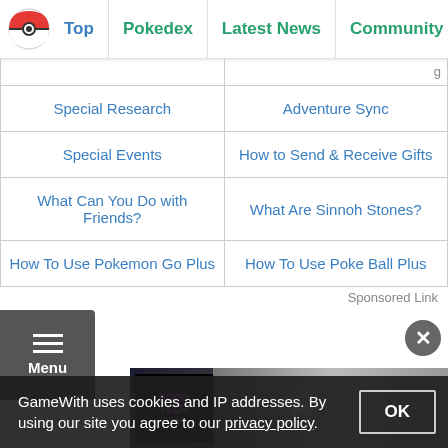Top | Pokedex | Latest News | Community Day | Tier L
| Special Research | Adventure Sync |
| Special Events | How to Send & Receive Gifts |
| What Can You Do with Friends? | What Are Sinnoh Stones? |
| How To Use Pokemon Go Plus | How To Use Poke Ball Plus |
Sponsored Link
[Figure (screenshot): Menu hamburger button on dark grey background with 'Menu' label]
[Figure (screenshot): Close (X) button circle]
[Figure (screenshot): Video thumbnail with GoodTech logo and audio mixing board background]
GameWith uses cookies and IP addresses. By using our site you agree to our privacy policy.